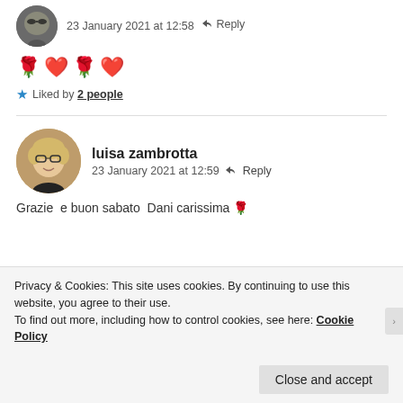[Figure (photo): Circular avatar of a person wearing sunglasses, partially cropped at top]
23 January 2021 at 12:58  Reply
🌹❤️🌹❤️
Liked by 2 people
[Figure (photo): Circular avatar of Luisa Zambrotta, elderly woman with blonde hair and glasses]
luisa zambrotta
23 January 2021 at 12:59  Reply
Grazie  e buon sabato  Dani carissima 🌹
Privacy & Cookies: This site uses cookies. By continuing to use this website, you agree to their use.
To find out more, including how to control cookies, see here: Cookie Policy
Close and accept